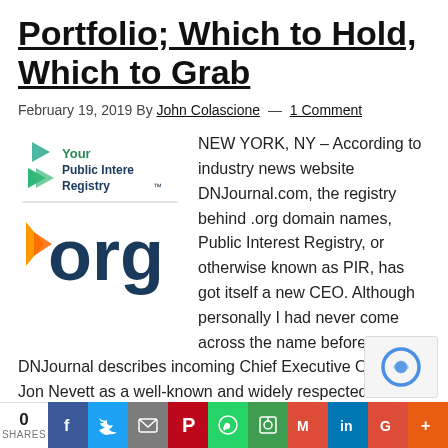Portfolio; Which to Hold, Which to Grab
February 19, 2019 By John Colascione — 1 Comment
[Figure (logo): Your Public Interest Registry .org logo — shows triangular arrow icons in teal and green with text 'Your Public Interest Registry' and large dark navy '.org' text with an orange arrow icon]
NEW YORK, NY – According to industry news website DNJournal.com, the registry behind .org domain names, Public Interest Registry, or otherwise known as PIR, has got itself a new CEO. Although personally I had never come across the name before, DNJournal describes incoming Chief Executive Officer Jon Nevett as a well-known and widely respected domain industry veteran - and this domain enthusi